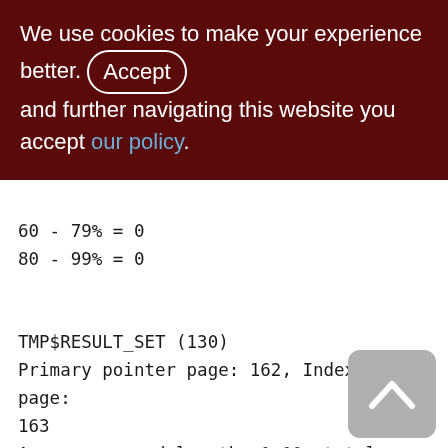We use cookies to make your experience better. By accepting and further navigating this website you accept our policy.
60 - 79% = 0
80 - 99% = 0
TMP$RESULT_SET (130)
Primary pointer page: 162, Index root page: 163
Average record length: 0.00, total records: 0
Average version length: 0.00, total versions: 0, max versions: 0
Data pages: 0, data page slots: 0, average fill: 0%
Fill distribution: